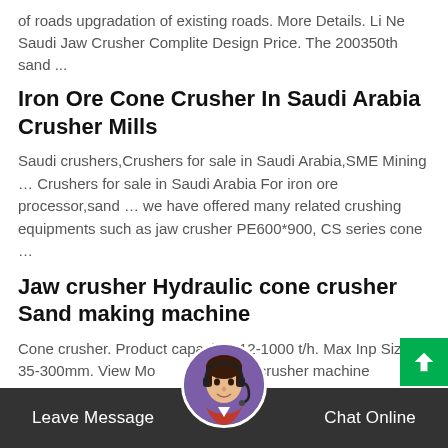of roads upgradation of existing roads. More Details. Li Ne Saudi Jaw Crusher Complite Design Price. The 200350th sand ...
Iron Ore Cone Crusher In Saudi Arabia Crusher Mills
Saudi crushers,Crushers for sale in Saudi Arabia,SME Mining … Crushers for sale in Saudi Arabia For iron ore processor,sand … we have offered many related crushing equipments such as jaw crusher PE600*900, CS series cone …
Jaw crusher Hydraulic cone crusher Sand making machine
Cone crusher. Product capacity : 12-1000 t/h. Max Input Size : 35-300mm. View Mo stone crusher machine price in China has become t topic that more and more customers are concerned about around the world